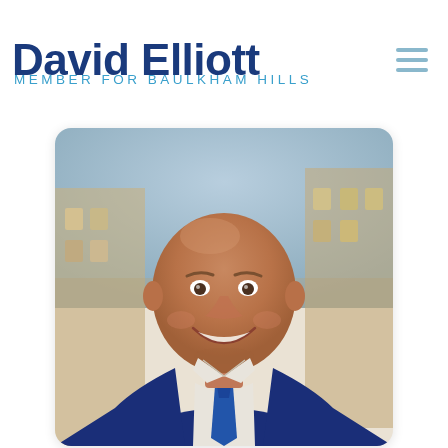your local State Member
David Elliott
MEMBER FOR BAULKHAM HILLS
[Figure (photo): Portrait photo of David Elliott, a bald man smiling broadly, wearing a navy blue suit with a blue tie and white shirt, photographed outdoors in front of a sandstone building background.]